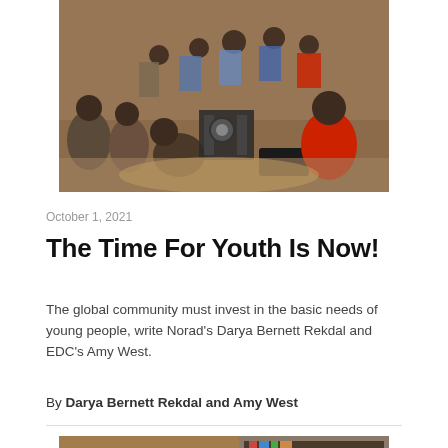[Figure (photo): Group of African men sitting on the ground around machinery being repaired, with one person in a red shirt observing]
October 1, 2021
The Time For Youth Is Now!
The global community must invest in the basic needs of young people, write Norad's Darya Bernett Rekdal and EDC's Amy West.
By Darya Bernett Rekdal and Amy West
[Figure (photo): Partial view of a second article photo showing books and people in a library or educational setting]